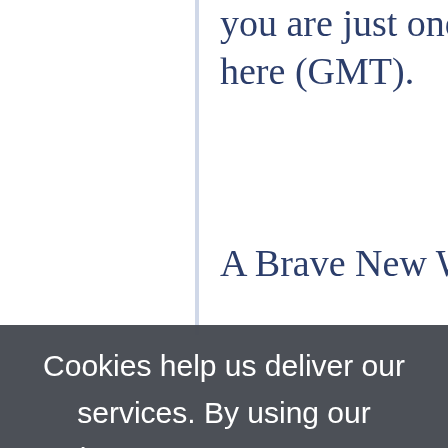you are just one hour and here (GMT).
A Brave New World it wil
[Figure (screenshot): Cookie consent overlay dialog on a webpage. Dark grey semi-transparent overlay with white text reading 'Cookies help us deliver our services. By using our services, you agree to our use of cookies. Learn more' and an OK button in blue.]
OK